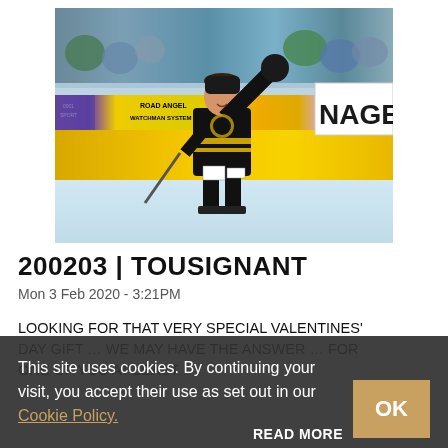[Figure (photo): Ice hockey player in black and gold jersey waving to the crowd on the ice rink, with advertising boards visible in the background including Road Angel and NAGE signage.]
200203 | TOUSIGNANT
Mon 3 Feb 2020 - 3:21PM
LOOKING FOR THAT VERY SPECIAL VALENTINES' DAY GIFT … WE MAY HAVE THE ANSWER … FOR ONE OF YOU AT LEAST
This site uses cookies. By continuing your visit, you accept their use as set out in our Cookie Policy.
READ MORE